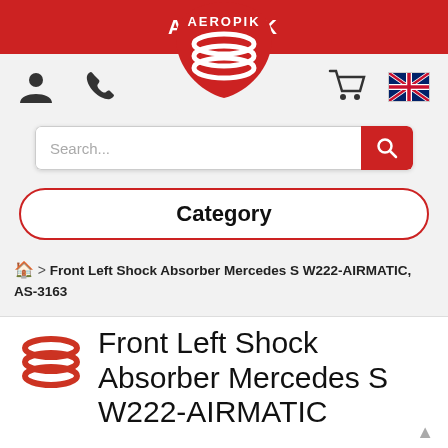AEROPIK
[Figure (logo): Aeropik red shield/droplet logo with stacked oval wave lines and AEROPIK text]
[Figure (infographic): Navigation icons: user/person icon, phone icon, shopping cart icon, UK flag icon]
[Figure (screenshot): Search bar with placeholder text 'Search...' and red search button]
Category
🏠 > Front Left Shock Absorber Mercedes S W222-AIRMATIC, AS-3163
[Figure (logo): Small Aeropik red logo with stacked oval wave lines]
Front Left Shock Absorber Mercedes S W222-AIRMATIC